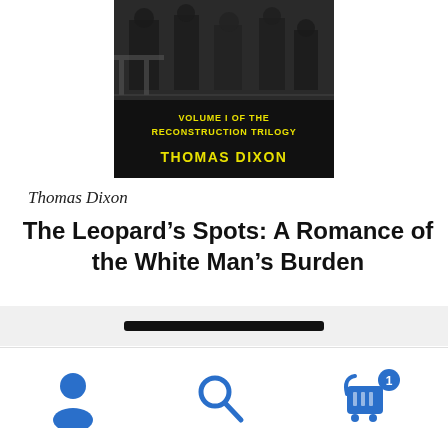[Figure (illustration): Book cover of 'The Leopard's Spots' by Thomas Dixon. Black background with a sepia-toned scene of men at the top. Yellow bold text reads 'VOLUME I OF THE RECONSTRUCTION TRILOGY' and 'THOMAS DIXON'.]
Thomas Dixon
The Leopard’s Spots: A Romance of the White Man’s Burden
$20.95
[Figure (screenshot): Mobile app bottom navigation bar with user icon, search icon, and shopping cart icon with badge showing 1 item.]